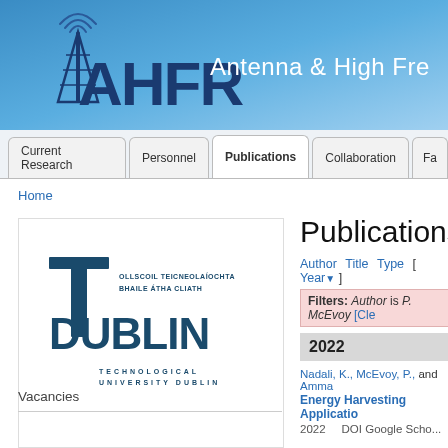[Figure (logo): AHFR Antenna & High Frequency Research group logo with blue gradient banner background]
Antenna & High Fre...
Current Research | Personnel | Publications | Collaboration | Fa...
Home
[Figure (logo): TU Dublin - Technological University Dublin logo. Text: OLLSCOIL TEICNEOLAÍOCHTA BHAILE ÁTHA CLIATH, DUBLIN, TECHNOLOGICAL UNIVERSITY DUBLIN]
Publications
Author Title Type [ Year▼ ]
Filters: Author is P. McEvoy [Cle...
2022
Nadali, K., McEvoy, P., and Amma...
Energy Harvesting Applicatio...
2022      DOI Google Scho...
Vacancies